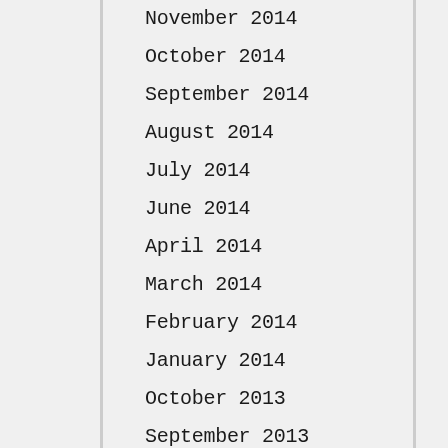November 2014
October 2014
September 2014
August 2014
July 2014
June 2014
April 2014
March 2014
February 2014
January 2014
October 2013
September 2013
August 2013
July 2013